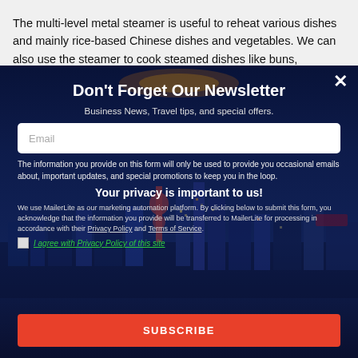The multi-level metal steamer is useful to reheat various dishes and mainly rice-based Chinese dishes and vegetables. We can also use the steamer to cook steamed dishes like buns, dumplings,
Don't Forget Our Newsletter
Business News, Travel tips, and special offers.
Email
The information you provide on this form will only be used to provide you occasional emails about, important updates, and special promotions to keep you in the loop.
Your privacy is important to us!
We use MailerLite as our marketing automation platform. By clicking below to submit this form, you acknowledge that the information you provide will be transferred to MailerLite for processing in accordance with their Privacy Policy and Terms of Service.
I agree with Privacy Policy of this site
SUBSCRIBE